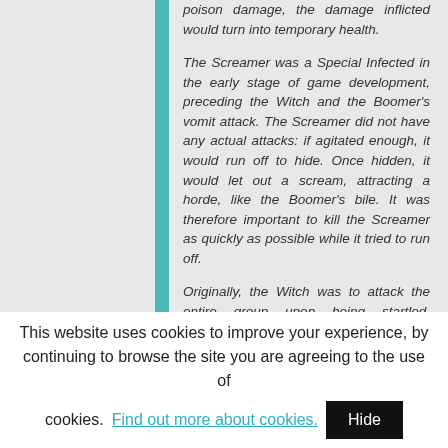poison damage, the damage inflicted would turn into temporary health.
The Screamer was a Special Infected in the early stage of game development, preceding the Witch and the Boomer's vomit attack. The Screamer did not have any actual attacks: if agitated enough, it would run off to hide. Once hidden, it would let out a scream, attracting a horde, like the Boomer's bile. It was therefore important to kill the Screamer as quickly as possible while it tried to run off.
Originally, the Witch was to attack the entire group upon being startled. However, this was cut from the final game because it was deemed too difficult as she would often wipe
This website uses cookies to improve your experience, by continuing to browse the site you are agreeing to the use of cookies. Find out more about cookies.